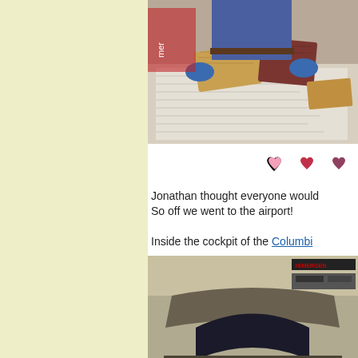[Figure (photo): Person standing at a worktable covered with newspaper, holding wooden boards, wearing blue gloves]
[Figure (illustration): Three heart emoji icons in pink/magenta colors]
Jonathan thought everyone would love to go! So off we went to the airport!

Inside the cockpit of the Columbi...
[Figure (photo): Interior cockpit view of what appears to be the Columbia space shuttle or aircraft, showing instrument panels and a person partially visible]